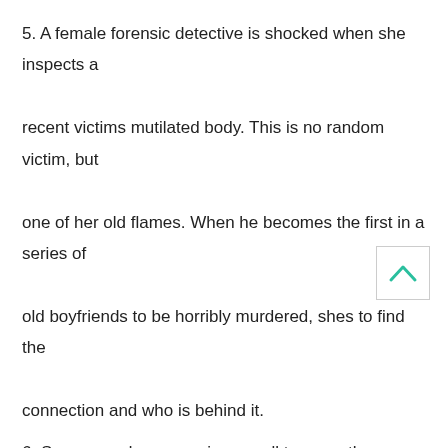5. A female forensic detective is shocked when she inspects a recent victims mutilated body. This is no random victim, but one of her old flames. When he becomes the first in a series of old boyfriends to be horribly murdered, shes to find the connection and who is behind it.
6. Seven murders occur in a small town on the same night. To make things even stranger, seven children show up at the police station the following morning confessing to the crimes, but they all insist they worked alone.
7. A police detective gets the call of all calls one night. When he arrives at the murder scene he finds his ex-wife dead, with forensic evidence pointing to himself.